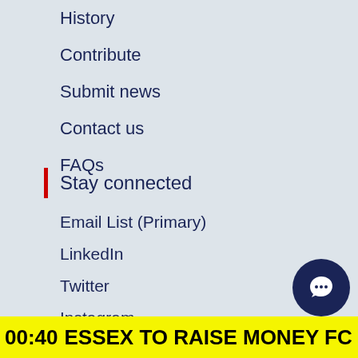History
Contribute
Submit news
Contact us
FAQs
Stay connected
Email List (Primary)
LinkedIn
Twitter
Instagram
Charity Today TV
00:40 ESSEX TO RAISE MONEY FC